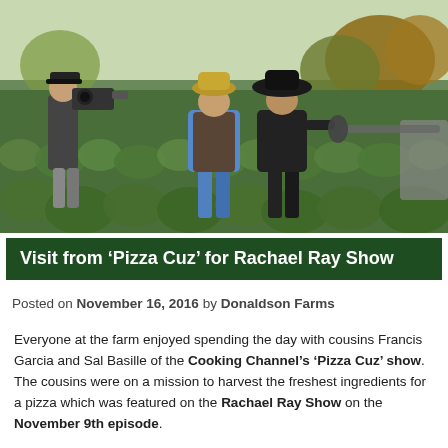[Figure (photo): People standing in a farm field of leafy green vegetables (broccoli/kale). A cameraman on the left holds a large video camera. Two men in the center-right wear cowboy/wide-brim hats and casual farm attire. Autumn trees visible in the background.]
Visit from 'Pizza Cuz' for Rachael Ray Show
Posted on November 16, 2016 by Donaldson Farms
Everyone at the farm enjoyed spending the day with cousins Francis Garcia and Sal Basille of the Cooking Channel's 'Pizza Cuz' show. The cousins were on a mission to harvest the freshest ingredients for a pizza which was featured on the Rachael Ray Show on the November 9th episode.